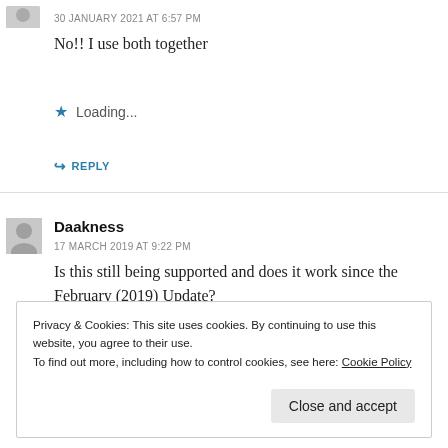30 JANUARY 2021 AT 6:57 PM
No!! I use both together
★ Loading...
↳ REPLY
Daakness
17 MARCH 2019 AT 9:22 PM
Is this still being supported and does it work since the February (2019) Update?
Privacy & Cookies: This site uses cookies. By continuing to use this website, you agree to their use.
To find out more, including how to control cookies, see here: Cookie Policy
Close and accept